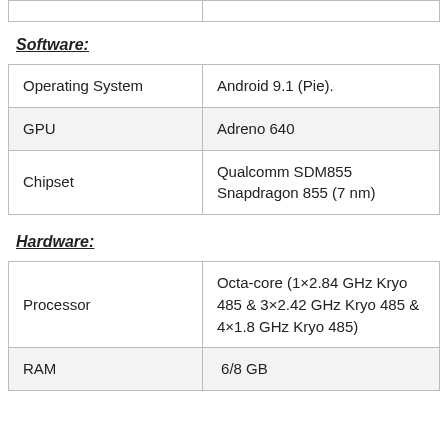|  |  |
Software:
| Operating System | Android 9.1 (Pie). |
| GPU | Adreno 640 |
| Chipset | Qualcomm SDM855 Snapdragon 855 (7 nm) |
Hardware:
| Processor | Octa-core (1×2.84 GHz Kryo 485 & 3×2.42 GHz Kryo 485 & 4×1.8 GHz Kryo 485) |
| RAM | 6/8 GB |